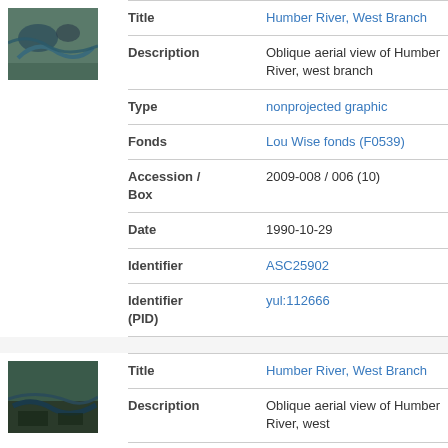[Figure (photo): Oblique aerial photograph of Humber River, West Branch, showing river and surrounding forested area from above]
| Field | Value |
| --- | --- |
| Title | Humber River, West Branch |
| Description | Oblique aerial view of Humber River, west branch |
| Type | nonprojected graphic |
| Fonds | Lou Wise fonds (F0539) |
| Accession / Box | 2009-008 / 006 (10) |
| Date | 1990-10-29 |
| Identifier | ASC25902 |
| Identifier (PID) | yul:112666 |
[Figure (photo): Oblique aerial photograph of Humber River, West Branch, darker tones showing river and trees]
| Field | Value |
| --- | --- |
| Title | Humber River, West Branch |
| Description | Oblique aerial view of Humber River, west |